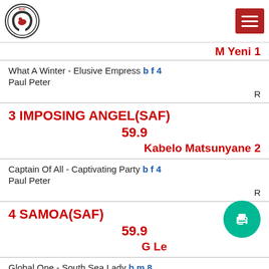Logo and navigation header
M Yeni 1
What A Winter - Elusive Empress b f 4
Paul Peter
R
3 IMPOSING ANGEL(SAF)
59.9
Kabelo Matsunyane 2
Captain Of All - Captivating Party b f 4
Paul Peter
R
4 SAMOA(SAF)
59.9
G Le... 0
Global One - South Sea Lady b m 8
Bridget Stidolph
R